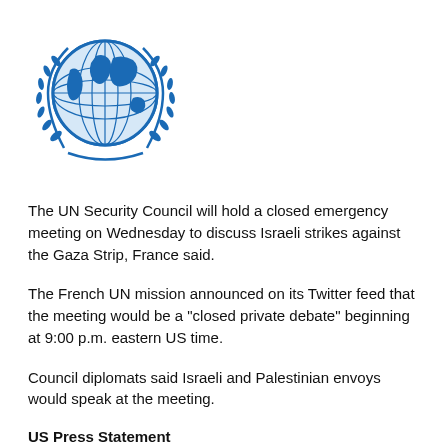[Figure (logo): United Nations emblem — blue globe with world map surrounded by olive branches]
The UN Security Council will hold a closed emergency meeting on Wednesday to discuss Israeli strikes against the Gaza Strip, France said.
The French UN mission announced on its Twitter feed that the meeting would be a "closed private debate" beginning at 9:00 p.m. eastern US time.
Council diplomats said Israeli and Palestinian envoys would speak at the meeting.
US Press Statement